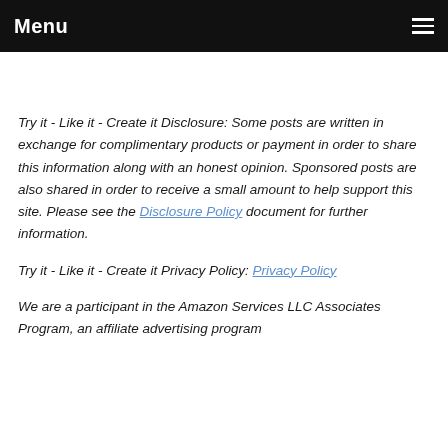Menu
Try it - Like it - Create it Disclosure: Some posts are written in exchange for complimentary products or payment in order to share this information along with an honest opinion. Sponsored posts are also shared in order to receive a small amount to help support this site. Please see the Disclosure Policy document for further information.
Try it - Like it - Create it Privacy Policy: Privacy Policy
We are a participant in the Amazon Services LLC Associates Program, an affiliate advertising program